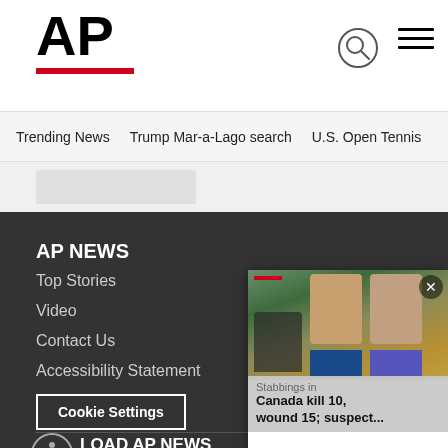AP
Trending News   Trump Mar-a-Lago search   U.S. Open Tennis
AP NEWS
Top Stories
Video
Contact Us
Accessibility Statement
Cookie Settings
DOWNLOAD AP NEWS
with the definitive source for g
[Figure (photo): Popup news story: Stabbings in Canada kill 10, wound 15; suspect... - showing police press conference and mugshots]